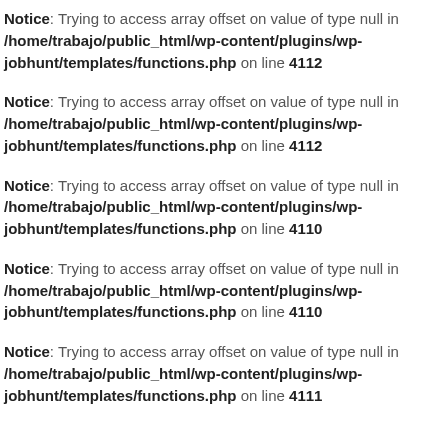Notice: Trying to access array offset on value of type null in /home/trabajo/public_html/wp-content/plugins/wp-jobhunt/templates/functions.php on line 4112
Notice: Trying to access array offset on value of type null in /home/trabajo/public_html/wp-content/plugins/wp-jobhunt/templates/functions.php on line 4112
Notice: Trying to access array offset on value of type null in /home/trabajo/public_html/wp-content/plugins/wp-jobhunt/templates/functions.php on line 4110
Notice: Trying to access array offset on value of type null in /home/trabajo/public_html/wp-content/plugins/wp-jobhunt/templates/functions.php on line 4110
Notice: Trying to access array offset on value of type null in /home/trabajo/public_html/wp-content/plugins/wp-jobhunt/templates/functions.php on line 4111